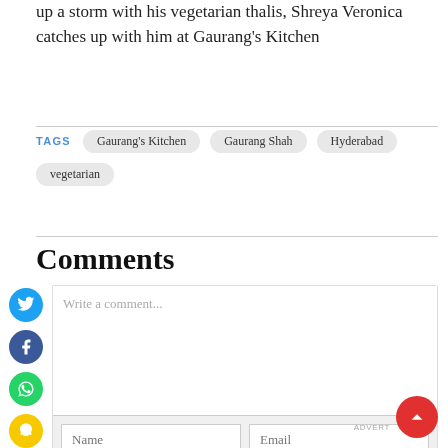up a storm with his vegetarian thalis, Shreya Veronica catches up with him at Gaurang's Kitchen
TAGS  Gaurang's Kitchen  Gaurang Shah  Hyderabad  vegetarian
Comments
Write a comment...
Name
Email
Post
ADVERT